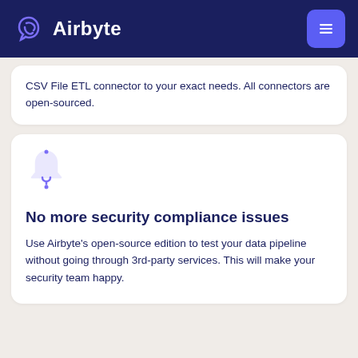Airbyte
CSV File ETL connector to your exact needs. All connectors are open-sourced.
[Figure (illustration): Purple rocket/notification bell icon]
No more security compliance issues
Use Airbyte's open-source edition to test your data pipeline without going through 3rd-party services. This will make your security team happy.